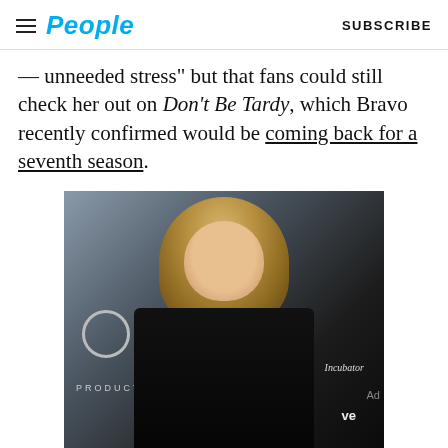People | SUBSCRIBE
— unneeded stress" but that fans could still check her out on Don't Be Tardy, which Bravo recently confirmed would be coming back for a seventh season.
[Figure (photo): A blonde woman in a black outfit posing at an event with 'PRODUCTIONS' and 'Incubator' text visible in the background.]